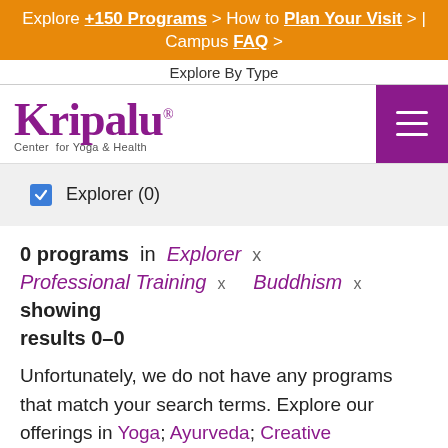Explore +150 Programs > How to Plan Your Visit > | Campus FAQ >
Explore By Type
[Figure (logo): Kripalu Center for Yoga & Health logo in purple]
Explorer (0)
0 programs in Explorer x Professional Training x Buddhism x showing results 0–0
Unfortunately, we do not have any programs that match your search terms. Explore our offerings in Yoga; Ayurveda; Creative Expression; Health, Fitness and Wellness; Self...